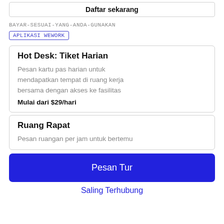Daftar sekarang
BAYAR-SESUAI-YANG-ANDA-GUNAKAN
APLIKASI WEWORK
Hot Desk: Tiket Harian
Pesan kartu pas harian untuk mendapatkan tempat di ruang kerja bersama dengan akses ke fasilitas
Mulai dari $29/hari
Ruang Rapat
Pesan ruangan per jam untuk bertemu
Pesan Tur
Saling Terhubung